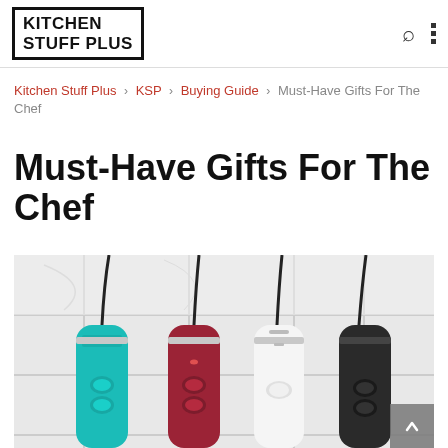Kitchen Stuff Plus
Kitchen Stuff Plus > KSP > Buying Guide > Must-Have Gifts For The Chef
Must-Have Gifts For The Chef
[Figure (photo): Four immersion blenders in teal, red, white, and black colors hanging by their cords against a white tile background]